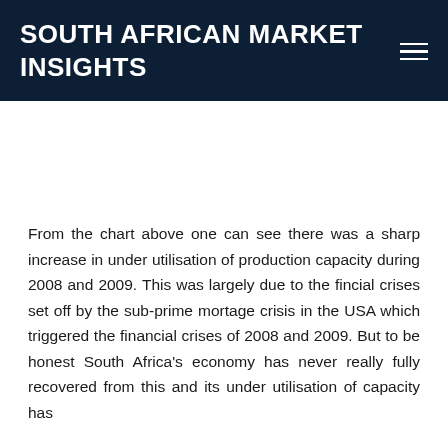SOUTH AFRICAN MARKET INSIGHTS
From the chart above one can see there was a sharp increase in under utilisation of production capacity during 2008 and 2009. This was largely due to the fincial crises set off by the sub-prime mortage crisis in the USA which triggered the financial crises of 2008 and 2009. But to be honest South Africa's economy has never really fully recovered from this and its under utilisation of capacity has